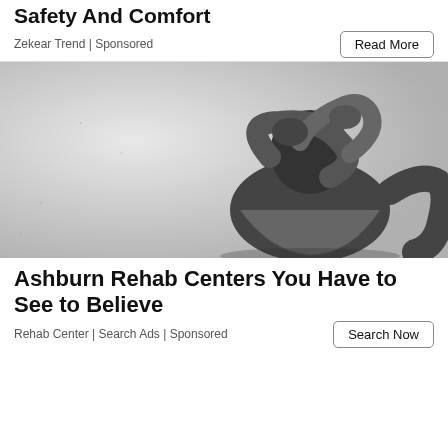Safety And Comfort
Zekear Trend | Sponsored
[Figure (photo): Black and white photo of a person in distress, crouching against a wall with hands covering their head and face.]
Ashburn Rehab Centers You Have to See to Believe
Rehab Center | Search Ads | Sponsored